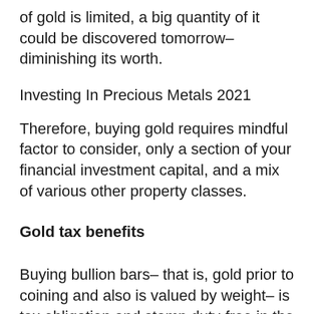of gold is limited, a big quantity of it could be discovered tomorrow– diminishing its worth.
Investing In Precious Metals 2021
Therefore, buying gold requires mindful factor to consider, only a section of your financial investment capital, and a mix of various other property classes.
Gold tax benefits
Buying bullion bars– that is, gold prior to coining and also is valued by weight– is tax obligation and stamp duty-free in the UK and the EU. Straining laws range nations as well as might be much less helpful in other nations like the U.S.